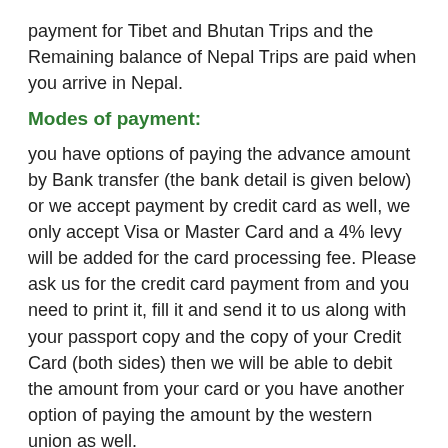payment for Tibet and Bhutan Trips and the Remaining balance of Nepal Trips are paid when you arrive in Nepal.
Modes of payment:
you have options of paying the advance amount by Bank transfer (the bank detail is given below) or we accept payment by credit card as well, we only accept Visa or Master Card and a 4% levy will be added for the card processing fee. Please ask us for the credit card payment from and you need to print it, fill it and send it to us along with your passport copy and the copy of your Credit Card (both sides) then we will be able to debit the amount from your card or you have another option of paying the amount by the western union as well.
Our Bank Details:
Name of the Account Holder: – Safe Holiday Adventure Pvt. Ltd
Account Number: – 0570010148629